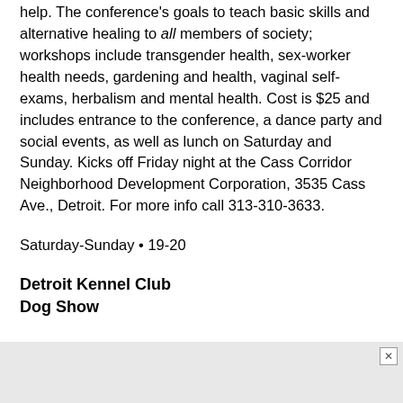help. The conference's goals to teach basic skills and alternative healing to all members of society; workshops include transgender health, sex-worker health needs, gardening and health, vaginal self-exams, herbalism and mental health. Cost is $25 and includes entrance to the conference, a dance party and social events, as well as lunch on Saturday and Sunday. Kicks off Friday night at the Cass Corridor Neighborhood Development Corporation, 3535 Cass Ave., Detroit. For more info call 313-310-3633.
Saturday-Sunday • 19-20
Detroit Kennel Club
Dog Show
FUN FOR ALL